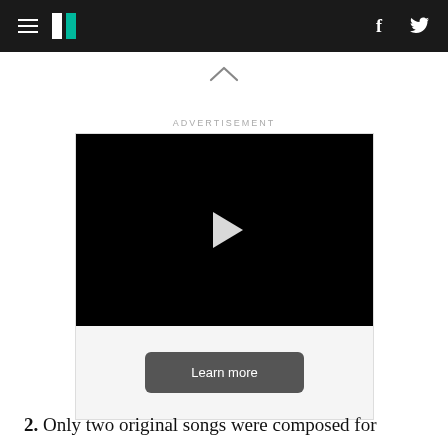HuffPost navigation bar with hamburger menu, logo, Facebook and Twitter icons
^
ADVERTISEMENT
[Figure (screenshot): Black video player with white play button triangle in center, with a 'Learn more' dark grey button below]
2. Only two original songs were composed for